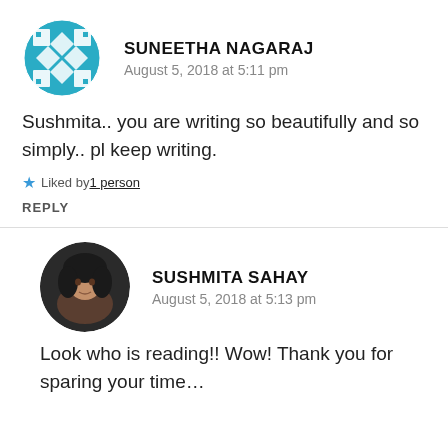[Figure (illustration): Circular avatar for Suneetha Nagaraj with teal/blue geometric tile pattern on white background]
SUNEETHA NAGARAJ
August 5, 2018 at 5:11 pm
Sushmita.. you are writing so beautifully and so simply.. pl keep writing.
★ Liked by 1 person
REPLY
[Figure (photo): Circular profile photo of Sushmita Sahay, a woman with short dark hair against a dark background]
SUSHMITA SAHAY
August 5, 2018 at 5:13 pm
Look who is reading!! Wow! Thank you for sparing your time…